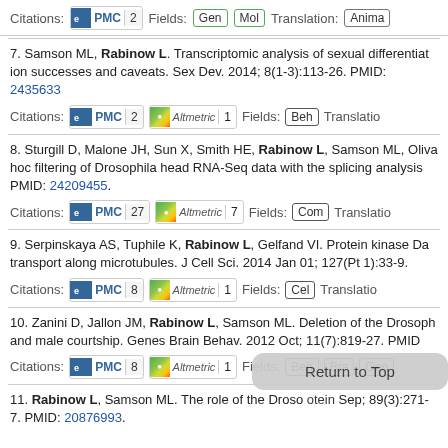Citations: PMC 2   Fields: Gen Mol   Translation: Anima
7. Samson ML, Rabinow L. Transcriptomic analysis of sexual differentiation successes and caveats. Sex Dev. 2014; 8(1-3):113-26. PMID: 24356332
Citations: PMC 2   Altmetric 1   Fields: Beh   Translation:
8. Sturgill D, Malone JH, Sun X, Smith HE, Rabinow L, Samson ML, Oliva hoc filtering of Drosophila head RNA-Seq data with the splicing analysis PMID: 24209455.
Citations: PMC 27   Altmetric 7   Fields: Com   Translation:
9. Serpinskaya AS, Tuphile K, Rabinow L, Gelfand VI. Protein kinase Da transport along microtubules. J Cell Sci. 2014 Jan 01; 127(Pt 1):33-9.
Citations: PMC 8   Altmetric 1   Fields: Cel   Translation:
10. Zanini D, Jallon JM, Rabinow L, Samson ML. Deletion of the Drosoph and male courtship. Genes Brain Behav. 2012 Oct; 11(7):819-27. PMID:
Citations: PMC 8   Altmetric 1   Fields: Beh Bra Gen
11. Rabinow L, Samson ML. The role of the Drosophila... iotein Sep; 89(3):271-7. PMID: 20876993.
[Figure (other): Return to Top button overlay]